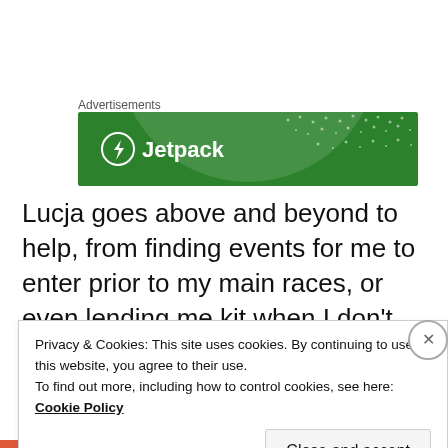Advertisements
[Figure (screenshot): Green Jetpack advertisement banner with lightning bolt logo and bold white 'Jetpack' text on a dark green background with light green circle and dot pattern.]
Lucja goes above and beyond to help, from finding events for me to enter prior to my main races, or even lending me kit when I don't have what I need. Although now living on different continents she's
Privacy & Cookies: This site uses cookies. By continuing to use this website, you agree to their use.
To find out more, including how to control cookies, see here: Cookie Policy
Close and accept